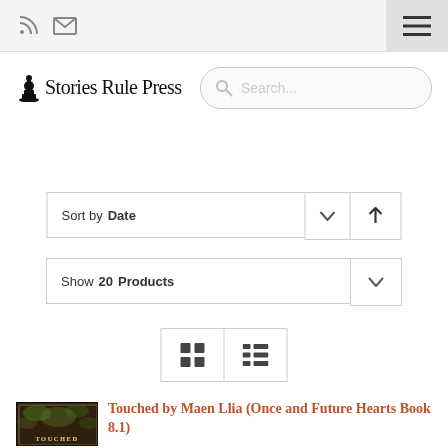Stories Rule Press — navigation bar with RSS, email, and hamburger menu icons
[Figure (logo): Stories Rule Press logo with chess piece icon and serif wordmark]
Search...
Sort by Date
Show 20 Products
[Figure (screenshot): Grid and list view toggle buttons]
[Figure (photo): Book cover thumbnail for Touched by Maen Llia (Once and Future Hearts Book 8.1) — dark ornate frame with foliage, text TOUCHED at bottom]
Touched by Maen Llia (Once and Future Hearts Book 8.1)